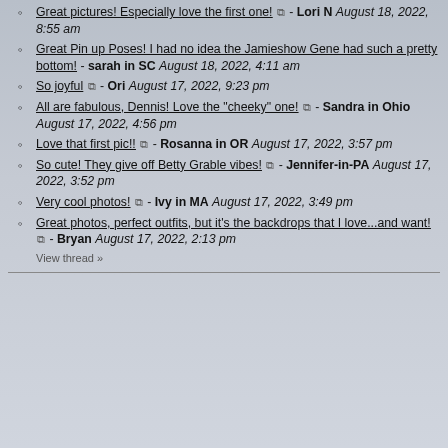Great pictures! Especially love the first one! ⧉ - Lori N August 18, 2022, 8:55 am
Great Pin up Poses! I had no idea the Jamieshow Gene had such a pretty bottom! - sarah in SC August 18, 2022, 4:11 am
So joyful ⧉ - Ori August 17, 2022, 9:23 pm
All are fabulous, Dennis! Love the "cheeky" one! ⧉ - Sandra in Ohio August 17, 2022, 4:56 pm
Love that first pic!! ⧉ - Rosanna in OR August 17, 2022, 3:57 pm
So cute! They give off Betty Grable vibes! ⧉ - Jennifer-in-PA August 17, 2022, 3:52 pm
Very cool photos! ⧉ - Ivy in MA August 17, 2022, 3:49 pm
Great photos, perfect outfits, but it's the backdrops that I love...and want! ⧉ - Bryan August 17, 2022, 2:13 pm
View thread »